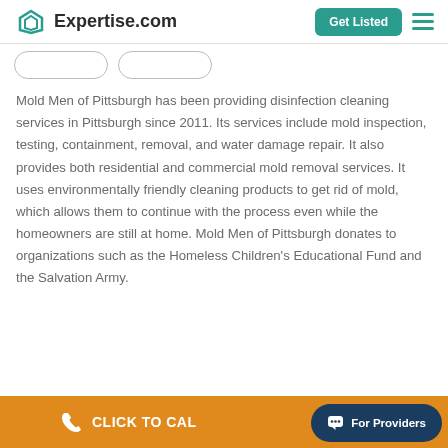Expertise.com — Get Listed
Mold Men of Pittsburgh has been providing disinfection cleaning services in Pittsburgh since 2011. Its services include mold inspection, testing, containment, removal, and water damage repair. It also provides both residential and commercial mold removal services. It uses environmentally friendly cleaning products to get rid of mold, which allows them to continue with the process even while the homeowners are still at home. Mold Men of Pittsburgh donates to organizations such as the Homeless Children's Educational Fund and the Salvation Army.